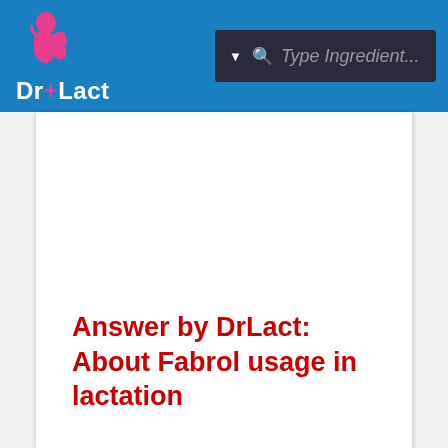Dr+Lact | Type Ingredient...
Answer by DrLact: About Fabrol usage in lactation